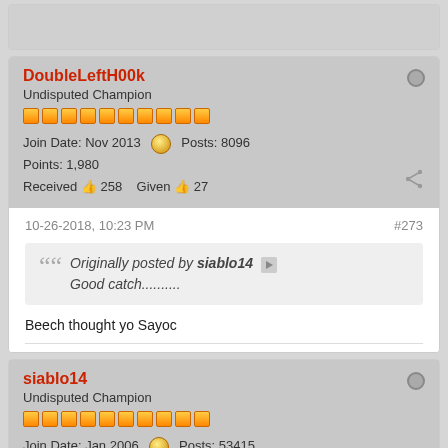(partial top post - truncated)
DoubleLeftH00k
Undisputed Champion
Join Date: Nov 2013  Posts: 8096
Points: 1,980
Received 258  Given 27
10-26-2018, 10:23 PM
#273
Originally posted by siablo14
Good catch..........
Beech thought yo Sayoc
siablo14
Undisputed Champion
Join Date: Jan 2006  Posts: 53415
Points: 2,252,150